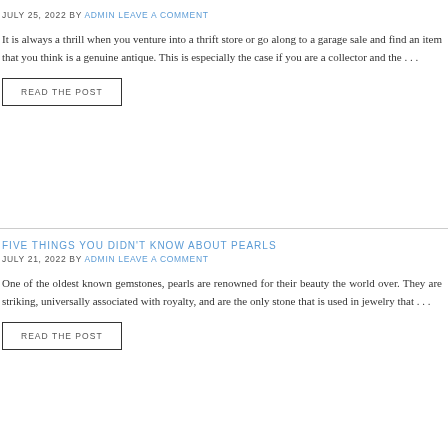JULY 25, 2022 BY ADMIN LEAVE A COMMENT
It is always a thrill when you venture into a thrift store or go along to a garage sale and find an item that you think is a genuine antique. This is especially the case if you are a collector and the . . .
READ THE POST
FIVE THINGS YOU DIDN'T KNOW ABOUT PEARLS
JULY 21, 2022 BY ADMIN LEAVE A COMMENT
One of the oldest known gemstones, pearls are renowned for their beauty the world over. They are striking, universally associated with royalty, and are the only stone that is used in jewelry that . . .
READ THE POST